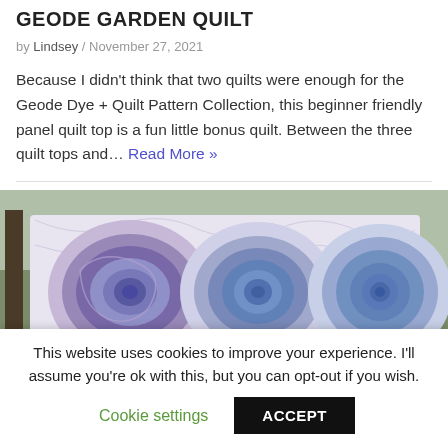GEODE GARDEN QUILT
by Lindsey / November 27, 2021
Because I didn't think that two quilts were enough for the Geode Dye + Quilt Pattern Collection, this beginner friendly panel quilt top is a fun little bonus quilt. Between the three quilt tops and... Read More »
[Figure (photo): Photo of a quilt with blue and purple geode/spiral patterns displayed outdoors against trees]
This website uses cookies to improve your experience. I'll assume you're ok with this, but you can opt-out if you wish. Cookie settings ACCEPT